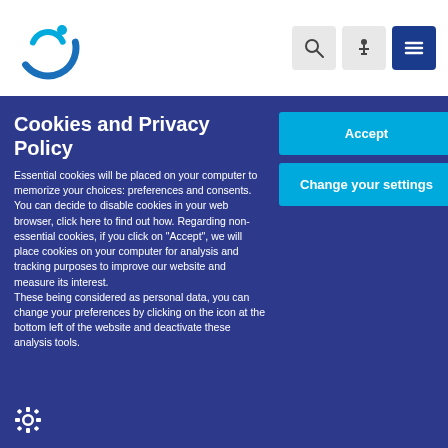[Figure (logo): Circular logo with two concentric C-shapes in blue and teal, with a dot]
[Figure (other): Navigation icons: search (magnifying glass), accessibility (person), menu (hamburger) on light/dark grey and dark blue buttons]
Cookies and Privacy Policy
Essential cookies will be placed on your computer to memorize your choices: preferences and consents. You can decide to disable cookies in your web browser, click here to find out how. Regarding non-essential cookies, if you click on "Accept", we will place cookies on your computer for analysis and tracking purposes to improve our website and measure its interest.
These being considered as personal data, you can change your preferences by clicking on the icon at the bottom left of the website and deactivate these analysis tools.
[Figure (other): Accept button - solid cyan/blue button]
[Figure (other): Change your settings button - solid cyan/blue button]
[Figure (other): Settings gear icon at bottom left]